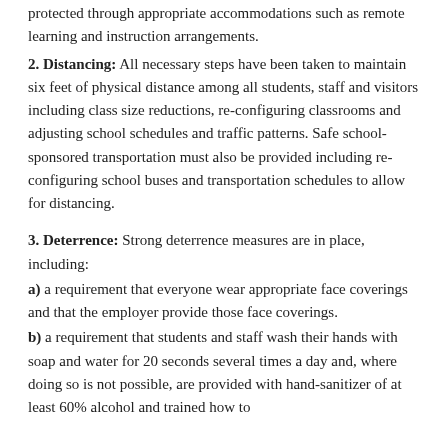protected through appropriate accommodations such as remote learning and instruction arrangements.
2. Distancing: All necessary steps have been taken to maintain six feet of physical distance among all students, staff and visitors including class size reductions, re-configuring classrooms and adjusting school schedules and traffic patterns. Safe school-sponsored transportation must also be provided including re-configuring school buses and transportation schedules to allow for distancing.
3. Deterrence: Strong deterrence measures are in place, including:
a) a requirement that everyone wear appropriate face coverings and that the employer provide those face coverings.
b) a requirement that students and staff wash their hands with soap and water for 20 seconds several times a day and, where doing so is not possible, are provided with hand-sanitizer of at least 60% alcohol and trained how to